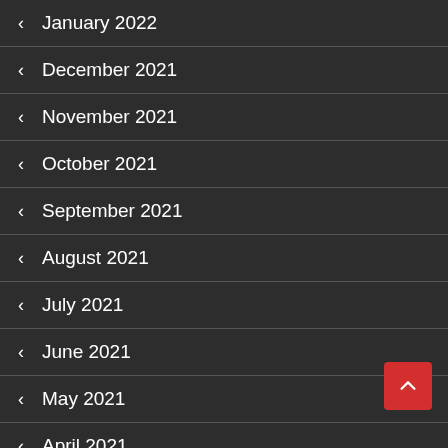‹ January 2022
‹ December 2021
‹ November 2021
‹ October 2021
‹ September 2021
‹ August 2021
‹ July 2021
‹ June 2021
‹ May 2021
‹ April 2021
‹ March 2021